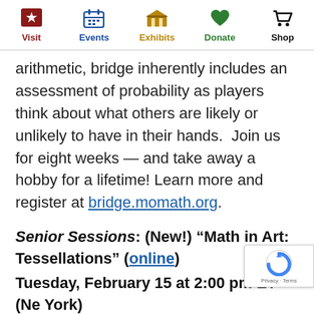Visit | Events | Exhibits | Donate | Shop
arithmetic, bridge inherently includes an assessment of probability as players think about what others are likely or unlikely to have in their hands.  Join us for eight weeks — and take away a hobby for a lifetime! Learn more and register at bridge.momath.org.
Senior Sessions: (New!) “Math in Art: Tessellations” (online)
Tuesday, February 15 at 2:00 pm ET (New York)
Discover the wonderful world of